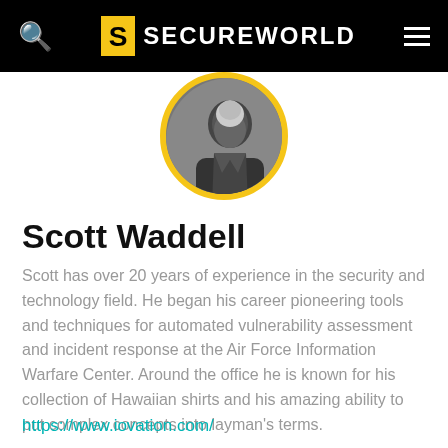SECUREWORLD
[Figure (photo): Circular profile photo of Scott Waddell with yellow border, black and white photo]
Scott Waddell
Scott has over 20 years of experience in the security and technology field. He began his career pioneering tools and techniques for automated vulnerability assessment and incident response at the Air Force Information Warfare Center. Around the office he is known for his collection of Hawaiian shirts and his amazing ability to put complex concepts into layman's terms.
https://www.iovation.com/